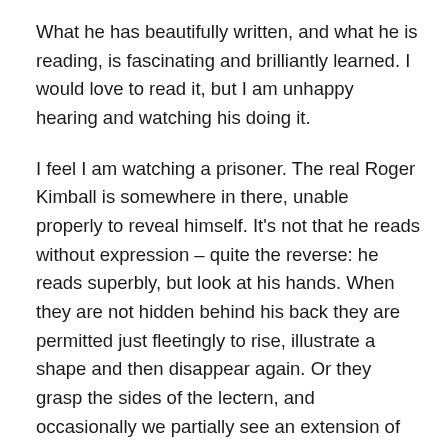What he has beautifully written, and what he is reading, is fascinating and brilliantly learned. I would love to read it, but I am unhappy hearing and watching his doing it.
I feel I am watching a prisoner. The real Roger Kimball is somewhere in there, unable properly to reveal himself. It's not that he reads without expression – quite the reverse: he reads superbly, but look at his hands. When they are not hidden behind his back they are permitted just fleetingly to rise, illustrate a shape and then disappear again. Or they grasp the sides of the lectern, and occasionally we partially see an extension of the fingers. All my instincts, my experience, and his fidgeting tell me that his personality and hands are dying to be really expressive, but they are incarcerated by the written word.
He still quotes other writers almost to excess – some